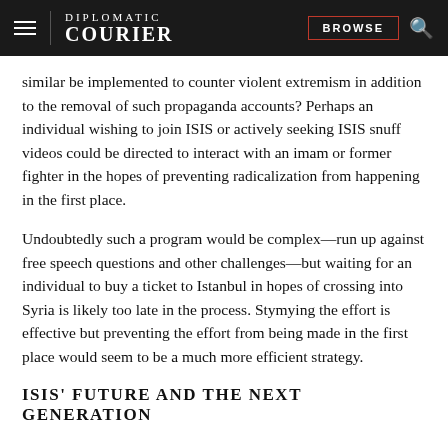DIPLOMATIC COURIER | BROWSE
similar be implemented to counter violent extremism in addition to the removal of such propaganda accounts? Perhaps an individual wishing to join ISIS or actively seeking ISIS snuff videos could be directed to interact with an imam or former fighter in the hopes of preventing radicalization from happening in the first place.
Undoubtedly such a program would be complex—run up against free speech questions and other challenges—but waiting for an individual to buy a ticket to Istanbul in hopes of crossing into Syria is likely too late in the process. Stymying the effort is effective but preventing the effort from being made in the first place would seem to be a much more efficient strategy.
ISIS' FUTURE AND THE NEXT GENERATION